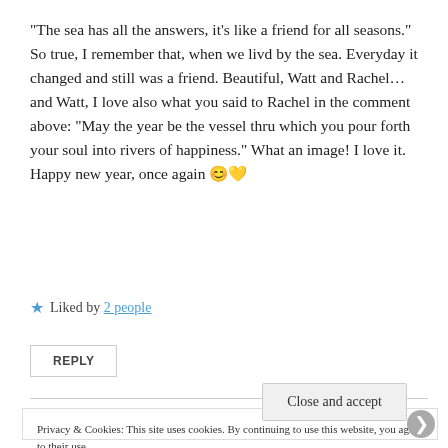“The sea has all the answers, it’s like a friend for all seasons.” So true, I remember that, when we livd by the sea. Everyday it changed and still was a friend. Beautiful, Watt and Rachel… and Watt, I love also what you said to Rachel in the comment above: “May the year be the vessel thru which you pour forth your soul into rivers of happiness.” What an image! I love it. Happy new year, once again 😊💛
★ Liked by 2 people
REPLY
Privacy & Cookies: This site uses cookies. By continuing to use this website, you agree to their use. To find out more, including how to control cookies, see here: Cookie Policy
Close and accept